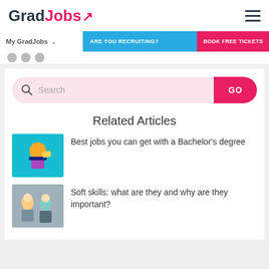GradJobs
My GradJobs | ARE YOU RECRUITING? | BOOK FREE TICKETS
[Figure (screenshot): Search bar with pink background and GO button]
Related Articles
[Figure (illustration): Illustration of a graduate holding a diploma]
Best jobs you can get with a Bachelor's degree
[Figure (photo): Photo of young professionals]
Soft skills: what are they and why are they important?